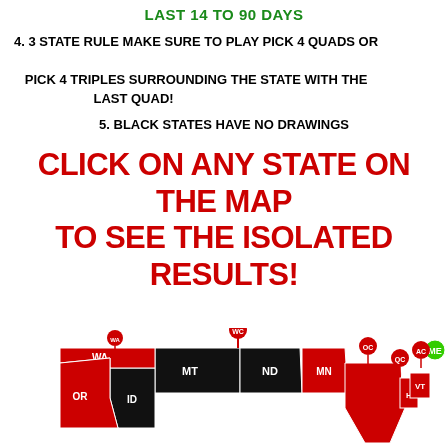LAST 14 TO 90 DAYS
4. 3 STATE RULE MAKE SURE TO PLAY PICK 4 QUADS OR PICK 4 TRIPLES SURROUNDING THE STATE WITH THE LAST QUAD!
5. BLACK STATES HAVE NO DRAWINGS
CLICK ON ANY STATE ON THE MAP TO SEE THE ISOLATED RESULTS!
[Figure (map): Partial US map showing states colored in red and black with location pin markers labeled WC, WA, MT, OR, ID, ND, MN, OC, QC, AC, ME, VT, H. Some states are red, some are black, ME state pin is green.]